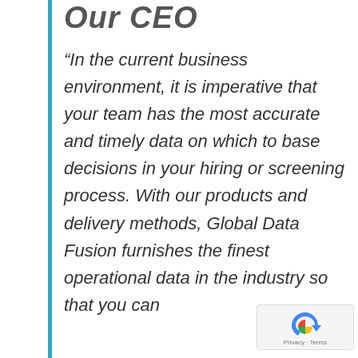Our CEO
“In the current business environment, it is imperative that your team has the most accurate and timely data on which to base decisions in your hiring or screening process. With our products and delivery methods, Global Data Fusion furnishes the finest operational data in the industry so that you can